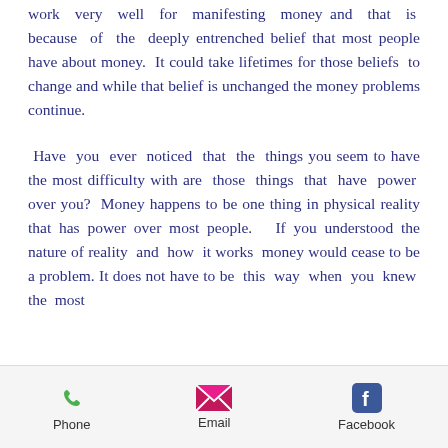work very well for manifesting money and that is because of the deeply entrenched belief that most people have about money. It could take lifetimes for those beliefs to change and while that belief is unchanged the money problems continue.
Have you ever noticed that the things you seem to have the most difficulty with are those things that have power over you? Money happens to be one thing in physical reality that has power over most people. If you understood the nature of reality and how it works money would cease to be a problem. It does not have to be this way when you knew the most
Phone  Email  Facebook